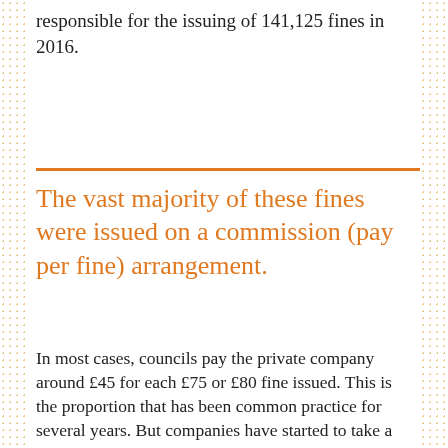responsible for the issuing of 141,125 fines in 2016.
The vast majority of these fines were issued on a commission (pay per fine) arrangement.
In most cases, councils pay the private company around £45 for each £75 or £80 fine issued. This is the proportion that has been common practice for several years. But companies have started to take a greater proportion of the fines income: in Flintshire, Kingdom Security keeps 85% of fines income, while 3GS and NSL have signed deals to keep all of the fines income in Barnet.